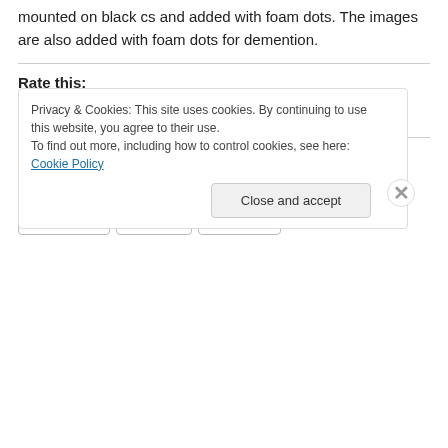mounted on black cs and added with foam dots. The images are also added with foam dots for demention.
Rate this:
[Figure (other): Star rating widget showing 1 out of 5 stars filled (green), 4 empty stars (gray), an info icon, and '2 Votes' text]
Share this:
[Figure (infographic): Share buttons: Twitter, Facebook, Pinterest, Reddit, LinkedIn, Email, Tumblr]
Privacy & Cookies: This site uses cookies. By continuing to use this website, you agree to their use. To find out more, including how to control cookies, see here: Cookie Policy